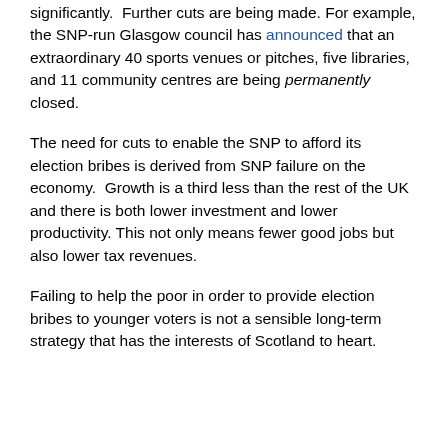significantly. Further cuts are being made. For example, the SNP-run Glasgow council has announced that an extraordinary 40 sports venues or pitches, five libraries, and 11 community centres are being permanently closed.
The need for cuts to enable the SNP to afford its election bribes is derived from SNP failure on the economy. Growth is a third less than the rest of the UK and there is both lower investment and lower productivity. This not only means fewer good jobs but also lower tax revenues.
Failing to help the poor in order to provide election bribes to younger voters is not a sensible long-term strategy that has the interests of Scotland to heart.